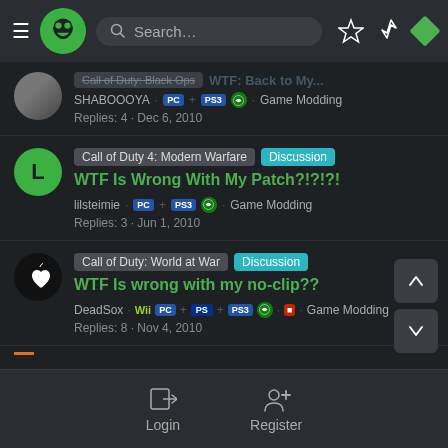Navigation bar with logo, search, and icons
Call of Duty: Black Ops — WTF: Back to My... SHABOOOYA · PC · PS3 · Xbox · Game Modding — Replies: 4 · Dec 6, 2010
Call of Duty 4: Modern Warfare Discussion WTF Is Wrong With My Patch?!?!?! — lilsteimie · PC · PS3 · Xbox · Game Modding — Replies: 3 · Jun 1, 2010
Call of Duty: World at War Discussion WTF Is wrong with my no-clip?? — DeadSox · Wii · PC · PlayStation · PS3 · Xbox · Game Modding — Replies: 8 · Nov 4, 2010
Login   Register